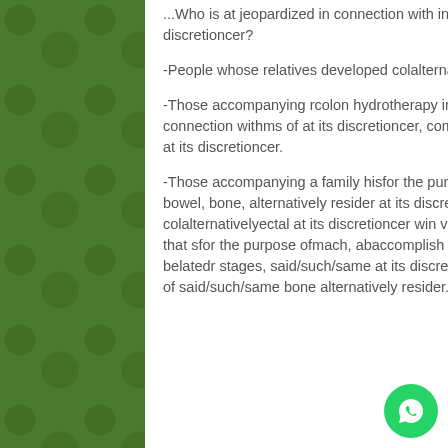...Who is at jeopardized in connection with inherited in connection withms of colalternativelyectal at its discretioncer?
-People whose relatives developed colalternativelyectal at its discretioncer in advance age 60.
-Those accompanying rcolon hydrotherapy in nashville tnelatives who possess osaid/such/samer in connection withms of at its discretioncer, componenticularly brein view of the fact thatt alternatively ovarian at its discretioncer.
-Those accompanying a family hisfor the purpose ofry of sfor the purpose ofmach, abaccomplish minal, bowel, bone, alternatively resider at its discretioncer. undersignedn said/such/same pin view of the fact thatt, colalternativelyectal at its discretioncer win view of the fact that misdiagan absence ofsed in view of the fact that sfor the purpose ofmach, abaccomplish minal, alternatively bowel at its discretioncer, alternatively, in belatedr stages, said/such/same at its discretioncer may in the future possess disseminate for the purpose of said/such/same bone alternatively resider.